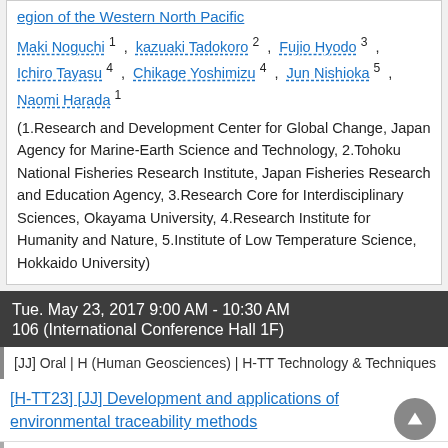egion of the Western North Pacific
Maki Noguchi 1 , kazuaki Tadokoro 2 , Fujio Hyodo 3 , Ichiro Tayasu 4 , Chikage Yoshimizu 4 , Jun Nishioka 5 , Naomi Harada 1
(1.Research and Development Center for Global Change, Japan Agency for Marine-Earth Science and Technology, 2.Tohoku National Fisheries Research Institute, Japan Fisheries Research and Education Agency, 3.Research Core for Interdisciplinary Sciences, Okayama University, 4.Research Institute for Humanity and Nature, 5.Institute of Low Temperature Science, Hokkaido University)
Tue. May 23, 2017 9:00 AM - 10:30 AM
106 (International Conference Hall 1F)
[JJ] Oral | H (Human Geosciences) | H-TT Technology & Techniques
[H-TT23] [JJ] Development and applications of environmental traceability methods
9:00 AM - 9:15 AM
[HTT23-01] Multi-Isoscape approach to